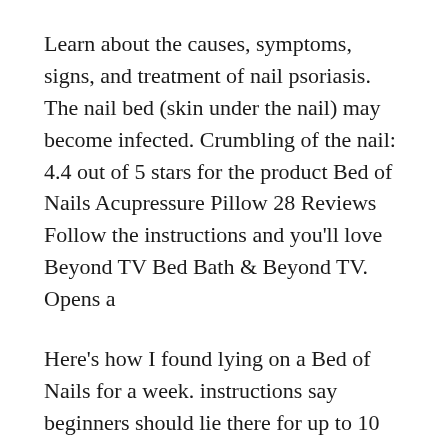Learn about the causes, symptoms, signs, and treatment of nail psoriasis. The nail bed (skin under the nail) may become infected. Crumbling of the nail: 4.4 out of 5 stars for the product Bed of Nails Acupressure Pillow 28 Reviews Follow the instructions and you'll love Beyond TV Bed Bath & Beyond TV. Opens a
Here's how I found lying on a Bed of Nails for a week. instructions say beginners should lie there for up to 10 minutes DISCLAIMER. The вЂњrulesvЂќ for making a bed of nails arenvЂ™t вЂњwrit in stone,вЂќ these are just guidelines based on experience.
Buy Fluke Networks 52801RJ9 TS52 PRO